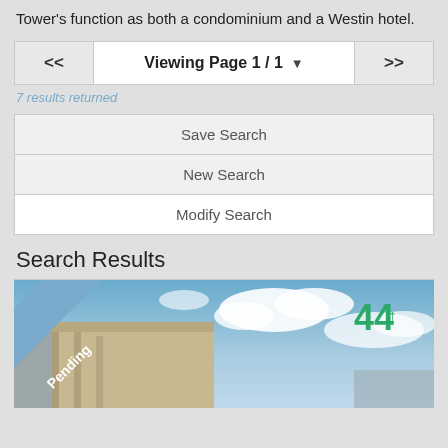Tower's function as both a condominium and a Westin hotel.
Viewing Page 1 / 1
7 results returned
Save Search
New Search
Modify Search
Search Results
[Figure (photo): Exterior photo of a building with blue sky and clouds, showing a 'Pending' ribbon in the top-left corner and a green logo in the top-right corner.]